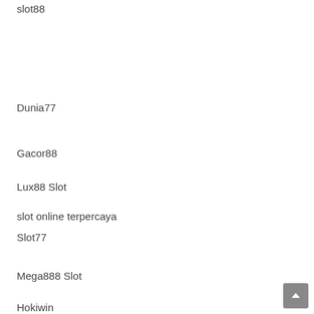slot88
Dunia77
slot online terpercaya
Gacor88
Lux88 Slot
Slot77
Mega888 Slot
Hokiwin